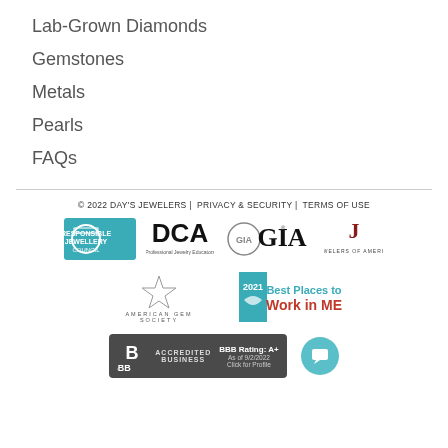Lab-Grown Diamonds
Gemstones
Metals
Pearls
FAQs
© 2022 DAY'S JEWELERS | PRIVACY & SECURITY | TERMS OF USE
[Figure (logo): Responsible Jewellery Council logo]
[Figure (logo): DCA Professional Jewelry Educators logo]
[Figure (logo): GIA logo with seal]
[Figure (logo): Jewelers of America logo]
[Figure (logo): American Gem Society logo]
[Figure (logo): 2021 Best Places to Work in ME badge]
[Figure (logo): BBB Accredited Business A+ rating badge]
[Figure (other): Chat support bubble icon]